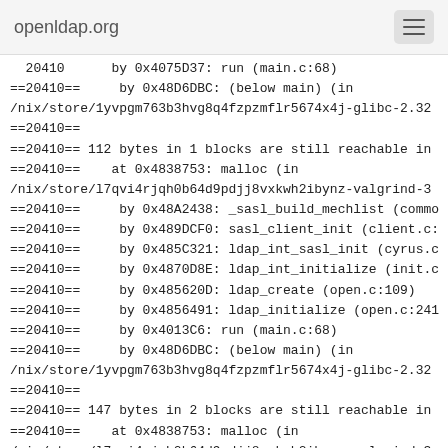openldap.org
20410      by 0x4075D37: run (main.c:68)
==20410==     by 0x48D6DBC: (below main) (in
/nix/store/1yvpgm763b3hvg8q4fzpzmflr5674x4j-glibc-2.32
==20410==
==20410== 112 bytes in 1 blocks are still reachable in
==20410==    at 0x4838753: malloc (in
/nix/store/l7qvi4rjqh0b64d9pdjj8vxkwh2ibynz-valgrind-3
==20410==     by 0x48A2438: _sasl_build_mechlist (commo
==20410==     by 0x489DCF0: sasl_client_init (client.c:
==20410==     by 0x485C321: ldap_int_sasl_init (cyrus.c
==20410==     by 0x4870D8E: ldap_int_initialize (init.c
==20410==     by 0x485620D: ldap_create (open.c:109)
==20410==     by 0x4856491: ldap_initialize (open.c:241
==20410==     by 0x4013C6: run (main.c:68)
==20410==     by 0x48D6DBC: (below main) (in
/nix/store/1yvpgm763b3hvg8q4fzpzmflr5674x4j-glibc-2.32
==20410==
==20410== 147 bytes in 2 blocks are still reachable in
==20410==    at 0x4838753: malloc (in
/nix/store/l7qvi4rjqh0b64d9pdjj8vxkwh2ibynz-valgrind-3